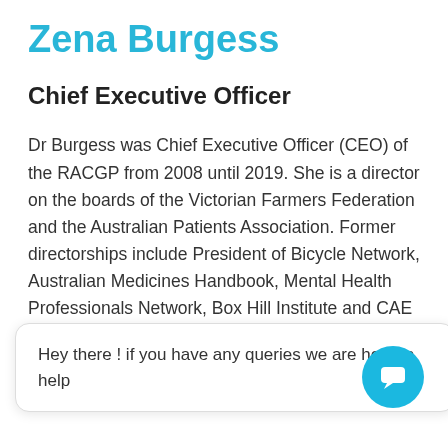Zena Burgess
Chief Executive Officer
Dr Burgess was Chief Executive Officer (CEO) of the RACGP from 2008 until 2019. She is a director on the boards of the Victorian Farmers Federation and the Australian Patients Association. Former directorships include President of Bicycle Network, Australian Medicines Handbook, Mental Health Professionals Network, Box Hill Institute and CAE as well as other statutory appointments. She is also a fellow of the Royal Australian College of General Practitioners and is a member of the Australian Medical Association and the Governance Institute of Australia, a not-for-profit society.
Hey there ! if you have any queries we are here to help